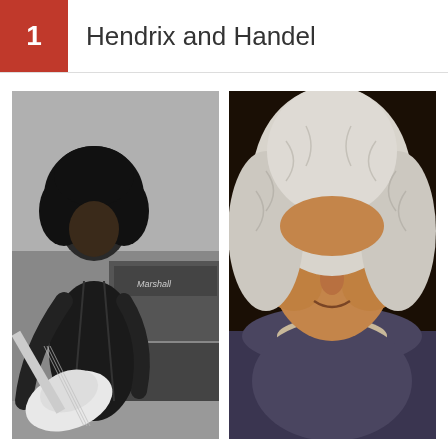1  Hendrix and Handel
[Figure (photo): Black and white photograph of Jimi Hendrix playing electric guitar, with Marshall amplifier in background]
[Figure (photo): Color portrait painting of George Frideric Handel wearing a white powdered wig, in 18th century style]